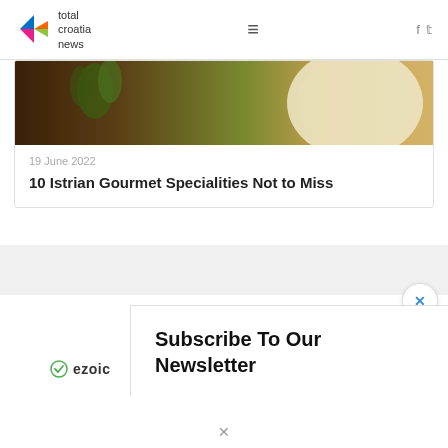total croatia news
[Figure (photo): Partial view of a food/gourmet dish on a dark wooden surface with herbs, bottom portion of image visible]
19 June 2022
10 Istrian Gourmet Specialities Not to Miss
Subscribe To Our Newsletter
[Figure (logo): Ezoic logo with green circle-check icon]